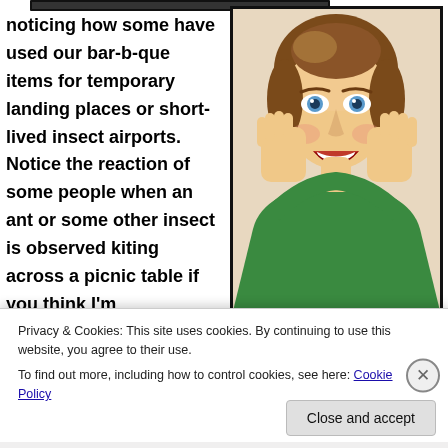noticing how some have used our bar-b-que items for temporary landing places or short-lived insect airports. Notice the reaction of some people when an ant or some other insect is observed kiting across a picnic table if you think I'm
[Figure (illustration): Retro-style illustration of a woman with brown hair wearing a green top, hands on her cheeks with mouth open in an expression of shock or surprise.]
Privacy & Cookies: This site uses cookies. By continuing to use this website, you agree to their use.
To find out more, including how to control cookies, see here: Cookie Policy